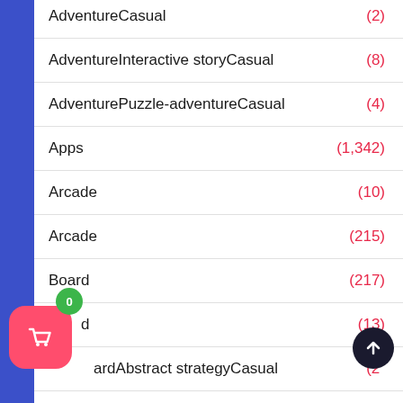AdventureCasual (2)
AdventureInteractive storyCasual (8)
AdventurePuzzle-adventureCasual (4)
Apps (1,342)
Arcade (10)
Arcade (215)
Board (217)
Board (13)
BoardAbstract strategyCasual (2)